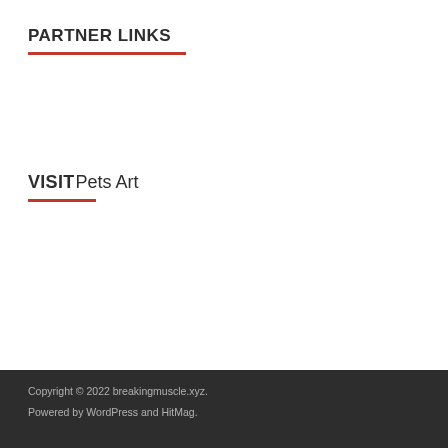PARTNER LINKS
VISITPets Art
Copyright © 2022 breakingmuscle.xyz. Powered by WordPress and HitMag.